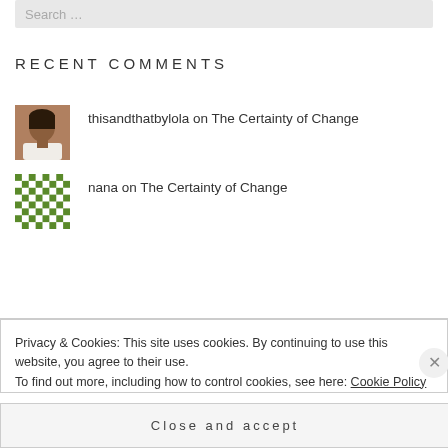[Figure (screenshot): Search input bar with placeholder text 'Search ...' on gray background]
RECENT COMMENTS
thisandthatbylola on The Certainty of Change
nana on The Certainty of Change
Privacy & Cookies: This site uses cookies. By continuing to use this website, you agree to their use.
To find out more, including how to control cookies, see here: Cookie Policy
Close and accept